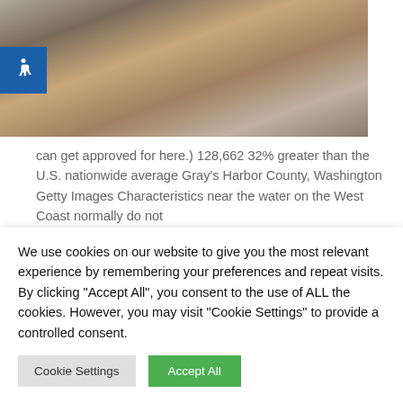[Figure (photo): Photograph of people on a beach/waterfront scene with women in colorful clothing, a child, and a horse visible in the background near water.]
can get approved for here.) 128,662 32% greater than the U.S. nationwide average Gray's Harbor County, Washington Getty Images Characteristics near the water on the West Coast normally do not
We use cookies on our website to give you the most relevant experience by remembering your preferences and repeat visits. By clicking "Accept All", you consent to the use of ALL the cookies. However, you may visit "Cookie Settings" to provide a controlled consent.
Cookie Settings | Accept All